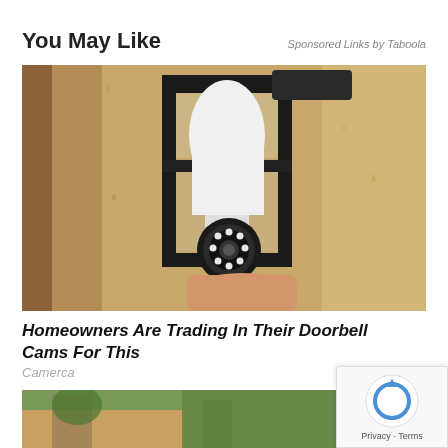You May Like
Sponsored Links by Taboola
[Figure (photo): Person inserting a white bulb-shaped security camera into a black outdoor lantern fixture mounted on a textured stucco wall.]
Homeowners Are Trading In Their Doorbell Cams For This
Camerca
[Figure (photo): Bottom partial thumbnail of an outdoor scene, partially visible.]